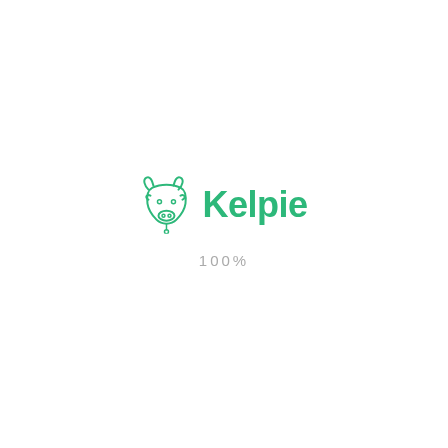[Figure (logo): Kelpie company logo: a green cow head icon to the left of the word 'Kelpie' in bold green sans-serif font, with '100%' in light grey spaced text below]